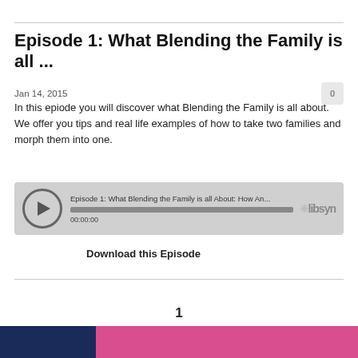Episode 1: What Blending the Family is all ...
Jan 14, 2015
In this epiode you will discover what Blending the Family is all about. We offer you tips and real life examples of how to take two families and morph them into one.
[Figure (other): Podcast audio player widget with play button, progress bar showing 00:00:00, episode title 'Episode 1: What Blending the Family is all About: How An...' and Libsyn branding]
Download this Episode
1
©2015